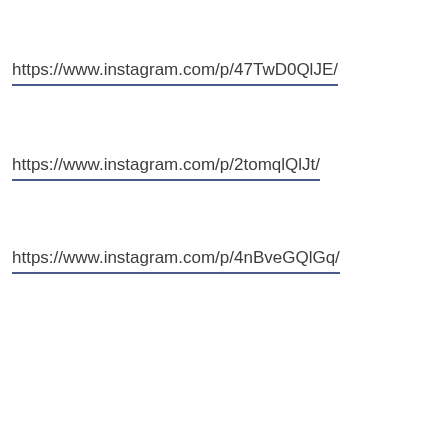https://www.instagram.com/p/47TwD0QlJE/
https://www.instagram.com/p/2tomqlQlJt/
https://www.instagram.com/p/4nBveGQlGq/